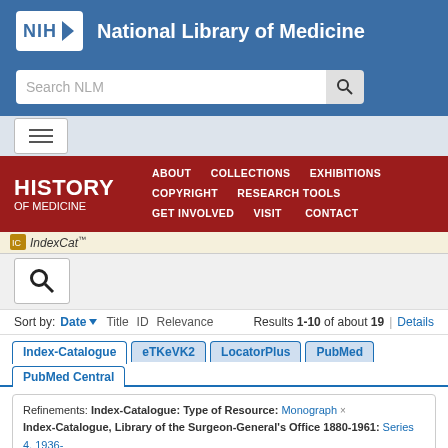[Figure (screenshot): NIH National Library of Medicine website header with blue background, NIH logo, site title, search bar, hamburger menu, History of Medicine navigation bar, IndexCat search interface showing sort options, database tabs (Index-Catalogue, eTKeVK2, LocatorPlus, PubMed, PubMed Central), and search refinements.]
Sort by: Date ▼  Title  ID  Relevance    Results 1-10 of about 19 | Details
Index-Catalogue  eTKeVK2  LocatorPlus  PubMed  PubMed Central
Refinements:  Index-Catalogue: Type of Resource:  Monograph ×  Index-Catalogue, Library of the Surgeon-General's Office 1880-1961:  Series 4, 1936- > Volume 005 × > Page 875 ×